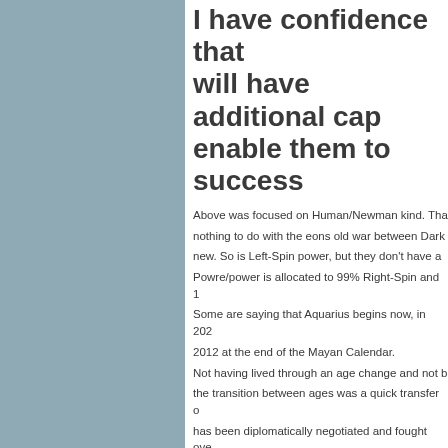I have confidence that will have additional cap enable them to success
Above was focused on Human/Newman kind. That nothing to do with the eons old war between Dark new. So is Left-Spin power, but they don't have a Powre/power is allocated to 99% Right-Spin and 1 Some are saying that Aquarius begins now, in 202 2012 at the end of the Mayan Calendar. Not having lived through an age change and not b the transition between ages was a quick transfer o has been diplomatically negotiated and fought ove taking 9 years to complete. That seems a long tim Year's Eve in 2021, the transition will be complete not a squishy, soft boundary; it is hard as nails an who was of "Darkness." There is going to be a ma 10,800 years. Yes, lots of Earth Changes, Sloshin My point in writing this is to tell you all that 2021, a All New Beings will have majikal powers that are a Try to wrap your mind around this concept. Imagin (with much greater powre and success). You will b